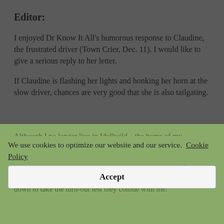Editor:
I enjoyed Dr Know It All’s humorous response to Claudine, the frustrated driver (Town Crier, Dec. 11). I would like to give a serious reply to her letter.
If Claudine is flashing her lights and honking her horn at the slow driver, chances are very good that she is also tailgating.
Although I no longer live in Idyllwild—the home of my v[...] mountains a[...] I’ve always been a slow driver. I normally use the turn-out to let people pass, when it’s safe to do so. But if someone’s tailgating me, I don’t dare slow down to take the turn-out lest they collide with me.
We use cookies to optimize our website and our service. Cookie Policy
Accept